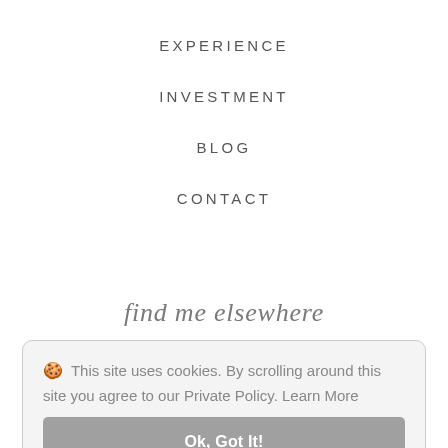EXPERIENCE
INVESTMENT
BLOG
CONTACT
find me elsewhere
🍪 This site uses cookies. By scrolling around this site you agree to our Private Policy. Learn More
Ok, Got It!